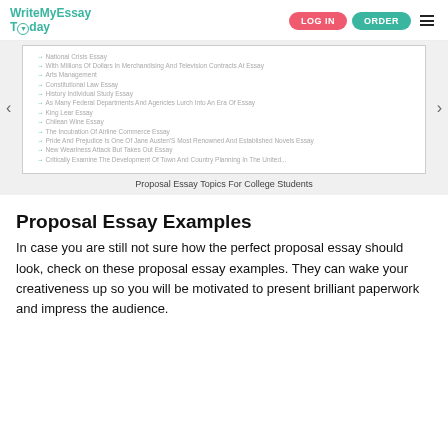WriteMyEssay Today | LOG IN | ORDER
[Figure (screenshot): A slideshow/carousel showing a list of proposal essay topics for college students with teal arrow bullets. Left and right navigation arrows visible.]
Proposal Essay Topics For College Students
Proposal Essay Examples
In case you are still not sure how the perfect proposal essay should look, check on these proposal essay examples. They can wake your creativeness up so you will be motivated to present brilliant paperwork and impress the audience.